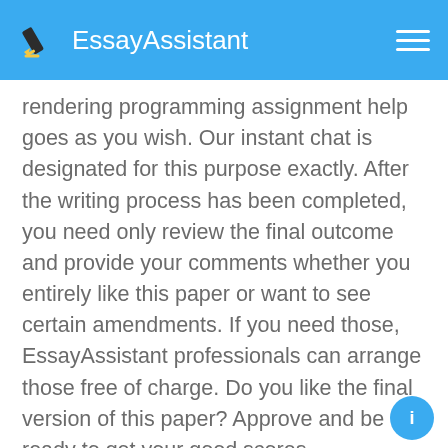EssayAssistant
rendering programming assignment help goes as you wish. Our instant chat is designated for this purpose exactly. After the writing process has been completed, you need only review the final outcome and provide your comments whether you entirely like this paper or want to see certain amendments. If you need those, EssayAssistant professionals can arrange those free of charge. Do you like the final version of this paper? Approve and be ready to get your good scores.
Enjoy the Variety of Programming Assignment Help Here Easily
If you have already decided to solve your current study problem thanks to programming homework